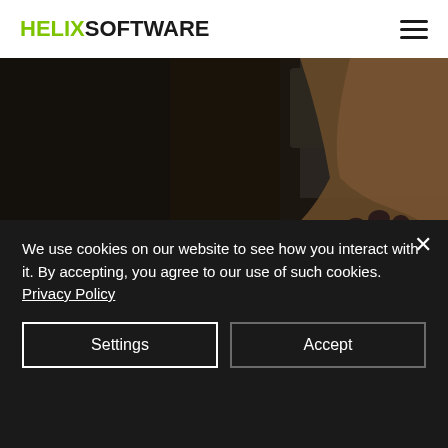HELIXSOFTWARE
[Figure (photo): Person's hands counting/fanning out US dollar bills on a dark desk surface, with office items in the background]
We use cookies on our website to see how you interact with it. By accepting, you agree to our use of such cookies. Privacy Policy
Settings
Accept